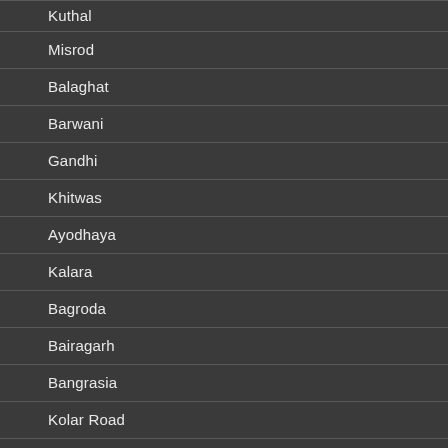Kuthal
Misrod
Balaghat
Barwani
Gandhi
Khitwas
Ayodhaya
Kalara
Bagroda
Bairagarh
Bangrasia
Kolar Road
Mangal Garh